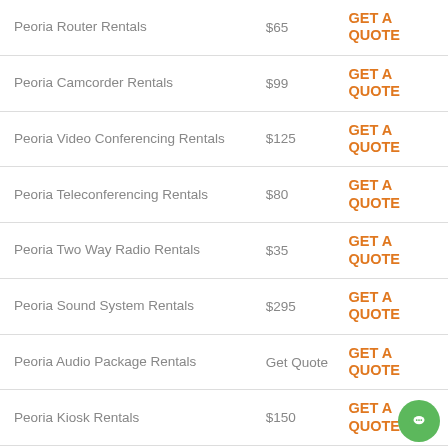| Service | Price | Action |
| --- | --- | --- |
| Peoria Router Rentals | $65 | GET A QUOTE |
| Peoria Camcorder Rentals | $99 | GET A QUOTE |
| Peoria Video Conferencing Rentals | $125 | GET A QUOTE |
| Peoria Teleconferencing Rentals | $80 | GET A QUOTE |
| Peoria Two Way Radio Rentals | $35 | GET A QUOTE |
| Peoria Sound System Rentals | $295 | GET A QUOTE |
| Peoria Audio Package Rentals | Get Quote | GET A QUOTE |
| Peoria Kiosk Rentals | $150 | GET A QUOTE |
| Peoria Podium Rentals | $300 | GET A QUOTE |
| Peoria 4 Camera Security | $450 | GET A |